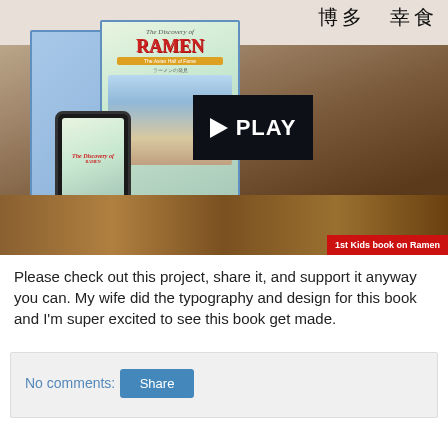[Figure (photo): Photo of a ramen restaurant setting with a displayed children's book 'The Discovery of Ramen: The Asian Hall of Fame', a smartphone showing the book cover, and a play button overlay in the center. Japanese calligraphy banners visible in background. Red badge reads '1st Kids book on Ramen'.]
Please check out this project, share it, and support it anyway you can. My wife did the typography and design for this book and I'm super excited to see this book get made.
No comments:
Share